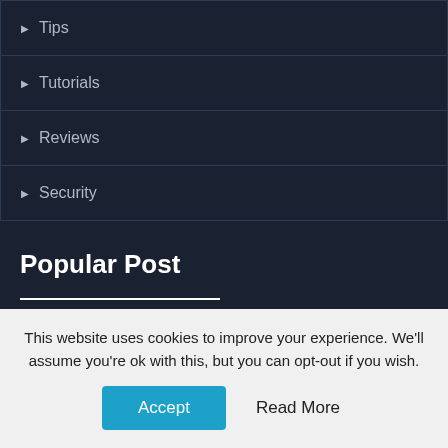Tips
Tutorials
Reviews
Security
Popular Post
10 Best Online Community Plugins for WordPress in 2021
How To Configure HR Portal for 2022 (partial, cut off)
This website uses cookies to improve your experience. We'll assume you're ok with this, but you can opt-out if you wish.